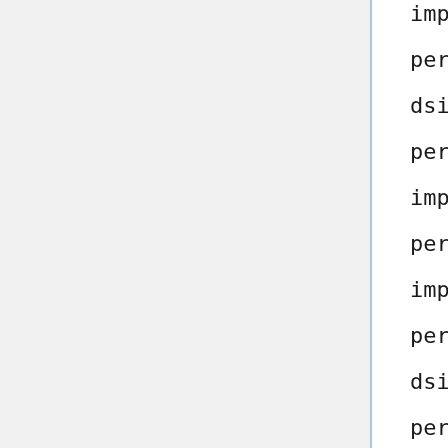import dsilakov
perl-Net-GPSD3 import dsilakov
perl-Net-IMAP-Simple import dsilakov
perl-Net-IMAP-Simple-SSL import dsilakov
perl-Net-Interface import dsilakov
perl-Net-IP-Match-Regexp import dsilakov
perl-Net-IPv6Addr import dsilakov
perl-Net-IRC import dsilakov
perl-Net-Jifty import dsilakov
perl-Net-Kismet import dsilakov
perl-Net-LDAP-HTMLWidget import dsilakov
perl-Net-LDAP-Server import dsilakov
perl-Net-LDAP-Server-Test import dsilakov